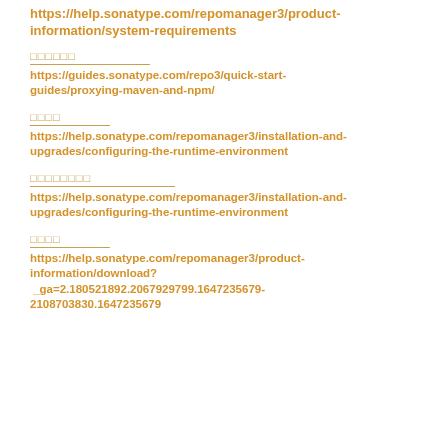https://help.sonatype.com/repomanager3/product-information/system-requirements
□□□□
https://guides.sonatype.com/repo3/quick-start-guides/proxying-maven-and-npm/
□□□□□□□□
https://help.sonatype.com/repomanager3/installation-and-upgrades/configuring-the-runtime-environment
□□□□
https://help.sonatype.com/repomanager3/product-information/download?_ga=2.180521892.2067929799.1647235679-2108703830.1647235679